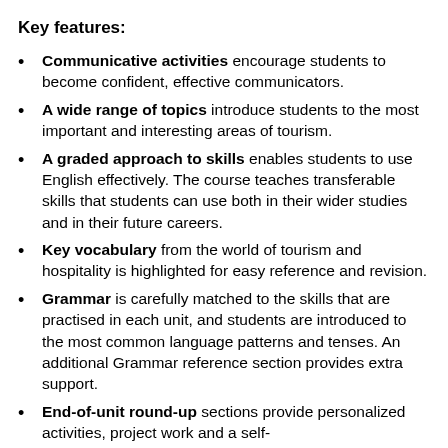Key features:
Communicative activities encourage students to become confident, effective communicators.
A wide range of topics introduce students to the most important and interesting areas of tourism.
A graded approach to skills enables students to use English effectively. The course teaches transferable skills that students can use both in their wider studies and in their future careers.
Key vocabulary from the world of tourism and hospitality is highlighted for easy reference and revision.
Grammar is carefully matched to the skills that are practised in each unit, and students are introduced to the most common language patterns and tenses. An additional Grammar reference section provides extra support.
End-of-unit round-up sections provide personalized activities, project work and a self-